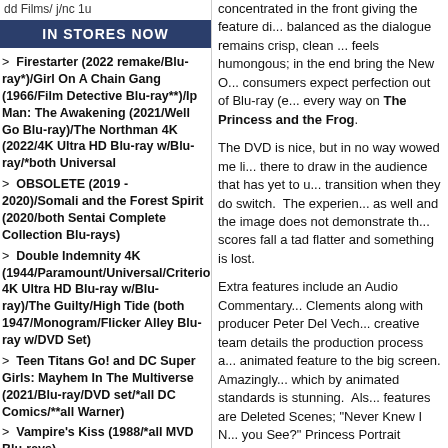dd Films/ j/nc 1u
IN STORES NOW
> Firestarter (2022 remake/Blu-ray*)/Girl On A Chain Gang (1966/Film Detective Blu-ray**)/Ip Man: The Awakening (2021/Well Go Blu-ray)/The Northman 4K (2022/4K Ultra HD Blu-ray w/Blu-ray/*both Universal
> OBSOLETE (2019 - 2020)/Somali and the Forest Spirit (2020/both Sentai Complete Collection Blu-rays)
> Double Indemnity 4K (1944/Paramount/Universal/Criterion 4K Ultra HD Blu-ray w/Blu-ray)/The Guilty/High Tide (both 1947/Monogram/Flicker Alley Blu-ray w/DVD Set)
> Teen Titans Go! and DC Super Girls: Mayhem In The Multiverse (2021/Blu-ray/DVD set/*all DC Comics/**all Warner)
> Vampire's Kiss (1988/*all MVD Blu-rays)
> Happy Hooker Goes To Hollywood (1980/Cannon/Scorpion/Blu-ray*)/Sex and Zen (2010/Umbrella Region Free Import Blu-ray)/Tokyo Decadence (1991/Unearthed Blu-ray*)/Wild Things 4K (1998/Sony/Arrow 4K Ultra
> Cecilia (1982/Blue Underground Blu-ray)/The Debut (1977/Cult Epics Blu-ray)/Mothering Sunday
concentrated in the front giving the feature di... balanced as the dialogue remains crisp, clean ... feels humongous; in the end bring the New O... consumers expect perfection out of Blu-ray (e... every way on The Princess and the Frog.
The DVD is nice, but in no way wowed me li... there to draw in the audience that has yet to u... transition when they do switch. The experien... as well and the image does not demonstrate th... scores fall a tad flatter and something is lost.
Extra features include an Audio Commentary... Clements along with producer Peter Del Vech... creative team details the production process a... animated feature to the big screen. Amazingly... which by animated standards is stunning. Als... features are Deleted Scenes; "Never Knew I N... you See?" Princess Portrait Game. There are ... Features (many on BD-Live) that include Wo... Life; Magic in the Bayou: The Making of a Pr... The Disney Legacy; Disney's Newest Princess... Villain; Return to the Animated Musical; Art G... excellent and I don't say that about many film... featurettes that get right to the point of explai... music; essentially saying 'there is more to us ... each feature is worth watching, especially the ... by-side the rough storyboards with the finishe...